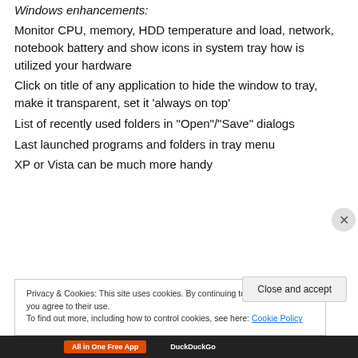Windows enhancements:
Monitor CPU, memory, HDD temperature and load, network, notebook battery and show icons in system tray how is utilized your hardware
Click on title of any application to hide the window to tray, make it transparent, set it ‘always on top’
List of recently used folders in “Open”/“Save” dialogs
Last launched programs and folders in tray menu
XP or Vista can be much more handy
Privacy & Cookies: This site uses cookies. By continuing to use this website, you agree to their use. To find out more, including how to control cookies, see here: Cookie Policy